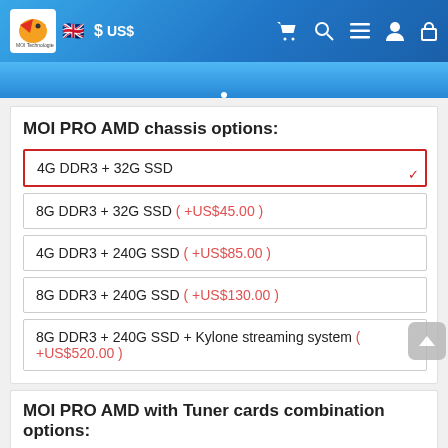MOI Technologies | US$ | navigation icons
MOI PRO AMD chassis options:
4G DDR3 + 32G SSD (selected)
8G DDR3 + 32G SSD ( +US$45.00 )
4G DDR3 + 240G SSD ( +US$85.00 )
8G DDR3 + 240G SSD ( +US$130.00 )
8G DDR3 + 240G SSD + Kylone streaming system ( +US$520.00 )
MOI PRO AMD with Tuner cards combination options:
basic version (without tuner)